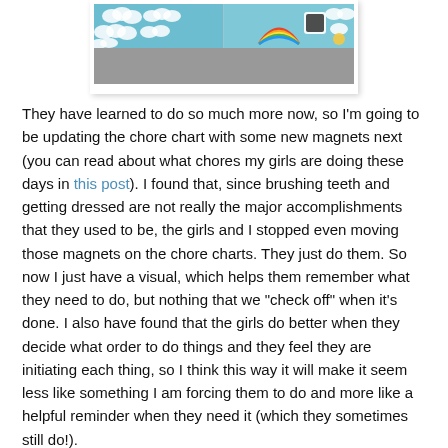[Figure (photo): Partial photo of a chore chart with colorful cloud and rainbow-themed magnetic backing, shown against a gray surface. The image is cropped at the top, showing mostly the decorative patterned border.]
They have learned to do so much more now, so I'm going to be updating the chore chart with some new magnets next (you can read about what chores my girls are doing these days in this post). I found that, since brushing teeth and getting dressed are not really the major accomplishments that they used to be, the girls and I stopped even moving those magnets on the chore charts. They just do them. So now I just have a visual, which helps them remember what they need to do, but nothing that we "check off" when it's done. I also have found that the girls do better when they decide what order to do things and they feel they are initiating each thing, so I think this way it will make it seem less like something I am forcing them to do and more like a helpful reminder when they need it (which they sometimes still do!).
I'll be updating you on the changes to the chore chart section